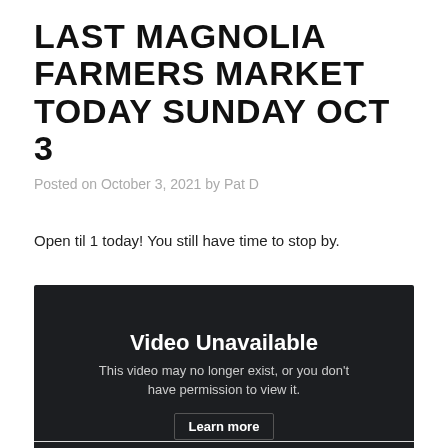LAST MAGNOLIA FARMERS MARKET TODAY SUNDAY OCT 3
Posted on October 3, 2021 by Pat D
Open til 1 today! You still have time to stop by.
[Figure (screenshot): Embedded video player showing 'Video Unavailable' message. Text reads: 'Video Unavailable. This video may no longer exist, or you don't have permission to view it. Learn more']